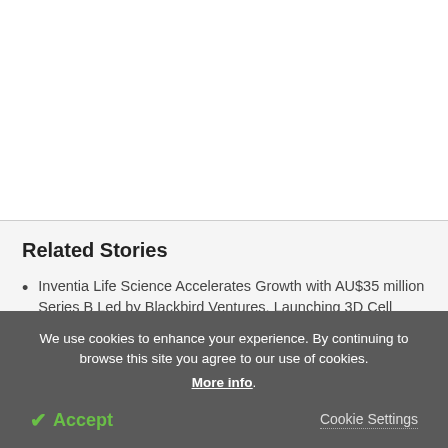Related Stories
Inventia Life Science Accelerates Growth with AU$35 million Series B Led by Blackbird Ventures, Launching 3D Cell Culture Platform into US Market
Salt substitutes reduce heart attack, stroke
We use cookies to enhance your experience. By continuing to browse this site you agree to our use of cookies. More info.